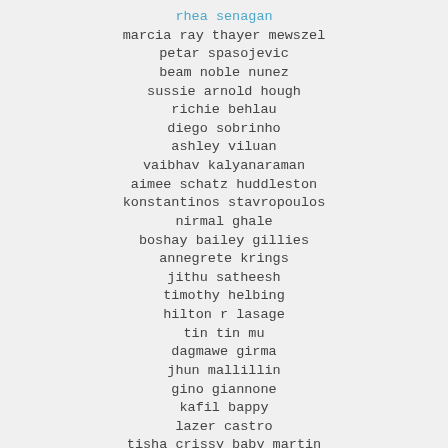rhea senagan
marcia ray thayer mewszel
petar spasojevic
beam noble nunez
sussie arnold hough
richie behlau
diego sobrinho
ashley viluan
vaibhav kalyanaraman
aimee schatz huddleston
konstantinos stavropoulos
nirmal ghale
boshay bailey gillies
annegrete krings
jithu satheesh
timothy helbing
hilton r lasage
tin tin mu
dagmawe girma
jhun mallillin
gino giannone
kafil bappy
lazer castro
tisha crissy baby martin